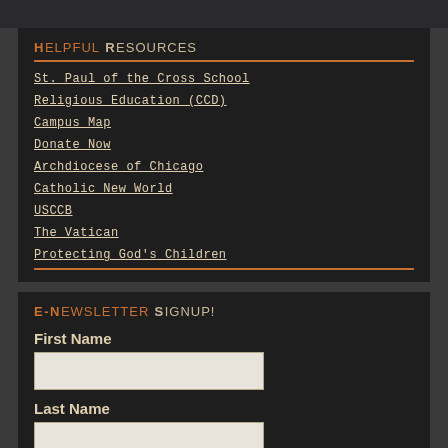HELPFUL RESOURCES
St. Paul of the Cross School
Religious Education (CCD)
Campus Map
Donate Now
Archdiocese of Chicago
Catholic New World
USCCB
The Vatican
Protecting God's Children
E-NEWSLETTER SIGNUP!
First Name
Last Name